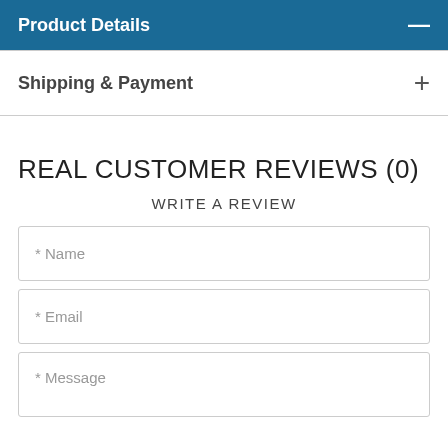Product Details
Shipping & Payment
REAL CUSTOMER REVIEWS (0)
WRITE A REVIEW
* Name
* Email
* Message